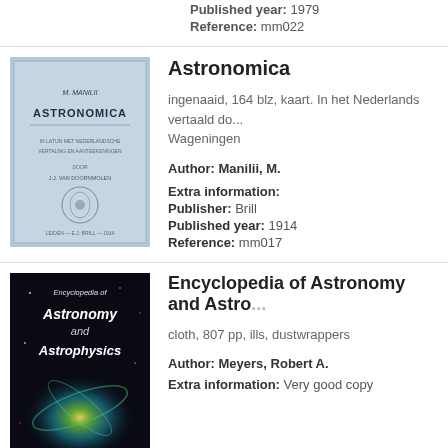Published year: 1979
Reference: mm022
Astronomica
ingenaaid, 164 blz, kaart. In het Nederlands vertaald do... Wageningen
Author: Manilii, M.
Extra information:
Publisher: Brill
Published year: 1914
Reference: mm017
Encyclopedia of Astronomy and Astro...
cloth, 807 pp, ills, dustwrappers
Author: Meyers, Robert A.
Extra information: Very good copy